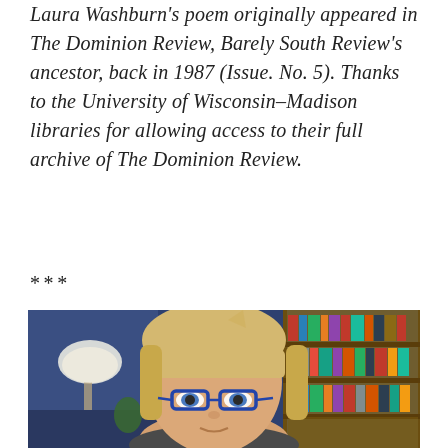Laura Washburn's poem originally appeared in The Dominion Review, Barely South Review's ancestor, back in 1987 (Issue. No. 5). Thanks to the University of Wisconsin–Madison libraries for allowing access to their full archive of The Dominion Review.
***
[Figure (photo): Portrait photo of a blonde woman with bangs wearing blue-framed glasses, seated in front of a bookshelf filled with books and a lamp visible in the background.]